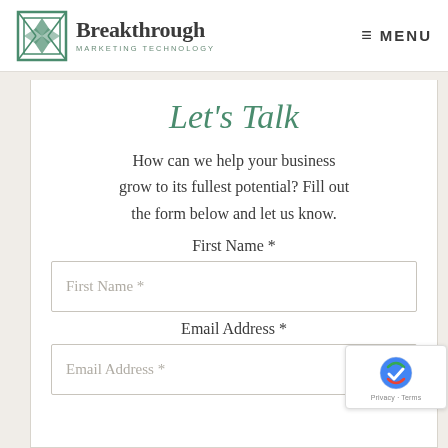Breakthrough Marketing Technology  ≡ MENU
Let's Talk
How can we help your business grow to its fullest potential? Fill out the form below and let us know.
First Name *
First Name *
Email Address *
Email Address *